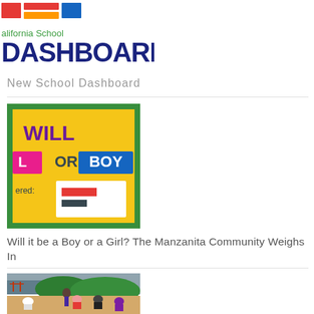[Figure (logo): California School Dashboard logo with colorful horizontal bars above text reading 'alifornia School' in green and 'DASHBOARD' in dark navy bold text]
New School Dashboard
[Figure (photo): Bulletin board with yellow background showing 'WILL' in purple letters, 'OR BOY' in blue letters, 'ered:' text, and a small chart/paper with red and dark bars — classroom gender reveal display]
Will it be a Boy or a Girl? The Manzanita Community Weighs In
[Figure (photo): Students and adults at a beach with the Golden Gate Bridge visible in background; children sitting and crouching on sandy beach in hoodies and jackets]